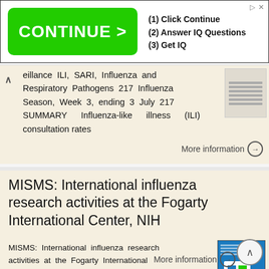[Figure (other): Advertisement banner with green CONTINUE button and text: (1) Click Continue, (2) Answer IQ Questions, (3) Get IQ]
eillance ILI, SARI, Influenza and Respiratory Pathogens 217 Influenza Season, Week 3, ending 3 July 217 SUMMARY Influenza-like illness (ILI) consultation rates
More information →
MISMS: International influenza research activities at the Fogarty International Center, NIH
MISMS: International influenza research activities at the Fogarty International Center, NIH Stacey Knobler and Gerardo Chowell For the Multinational Influenza Seasonal Mortality Study Group (MISMS) Division
More information →